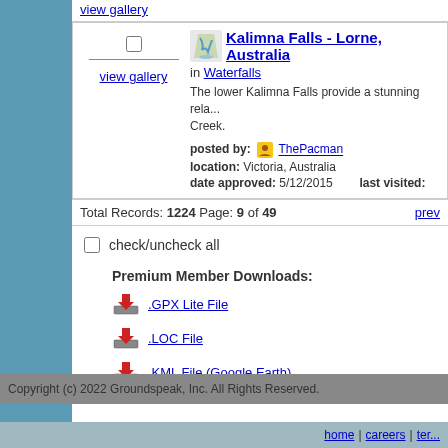view gallery
view gallery
Kalimna Falls - Lorne, Australia
in Waterfalls
The lower Kalimna Falls provide a stunning rela... Creek.
posted by: ThePacman
location: Victoria, Australia
date approved: 5/12/2015   last visited:
Total Records: 1224 Page: 9 of 49  prev
check/uncheck all
Premium Member Downloads:
.GPX Lite File
.LOC File
.KML File (Google Earth)
Copyright (c) 2022 Groundspeak, Inc. All Rights Reserved.
home | careers | ter...